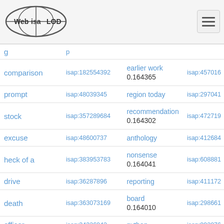[Figure (logo): Web Isa LOD globe logo]
| term | isap id 1 | hypernym | isap id 2 |
| --- | --- | --- | --- |
| comparison | isap:182554392 | earlier work / 0.164365 | isap:457016 |
| prompt | isap:48039345 | region today | isap:297041 |
| stock | isap:357289684 | recommendation / 0.164302 | isap:472719 |
| excuse | isap:48600737 | anthology | isap:412684 |
| heck of a | isap:383953783 | nonsense / 0.164041 | isap:608881 |
| drive | isap:36287896 | reporting | isap:411172 |
| death | isap:363073169 | board / 0.164010 | isap:298661 |
| officer | isap:34326042 | python | isap:992076 |
| disagreement | isap:321823014 | id / 0.163879 | isap:141416 |
| kind | isap:38406511 | didn't | isap:986767 |
| ... | ... | selection | isap:499... |